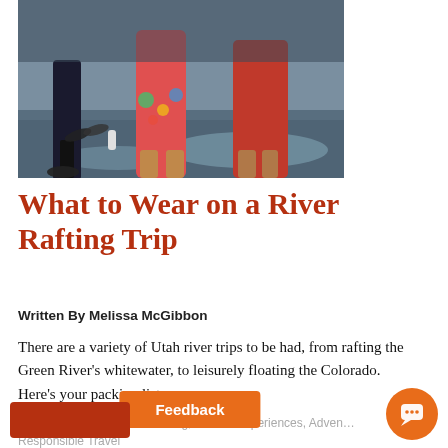[Figure (photo): Photo of people standing near a river shoreline, wearing swimwear and sandals on wet sand/rocks]
What to Wear on a River Rafting Trip
Written By Melissa McGibbon
There are a variety of Utah river trips to be had, from rafting the Green River's whitewater, to leisurely floating the Colorado. Here's your packing list.
Family, Watersports and Rafting, Guided Experiences, Adventure, Responsible Travel